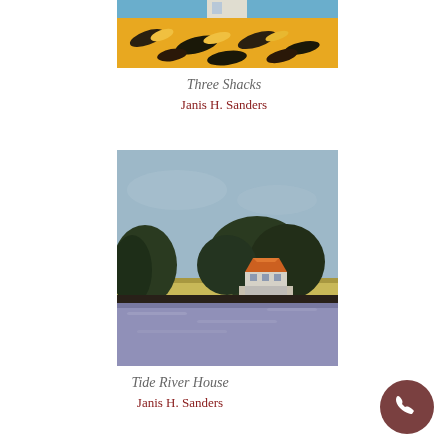[Figure (illustration): Top portion of a painting showing a yellow hillside with blue sky and dark brushstrokes, partial view cropped at top of page. Title: Three Shacks by Janis H. Sanders.]
Three Shacks
Janis H. Sanders
[Figure (illustration): Painting of a rural landscape with a white house with orange roof surrounded by dark green trees, a flat meadow in the foreground, and a pale blue sky. Purple/lavender water or road in the foreground. Title: Tide River House by Janis H. Sanders.]
Tide River House
Janis H. Sanders